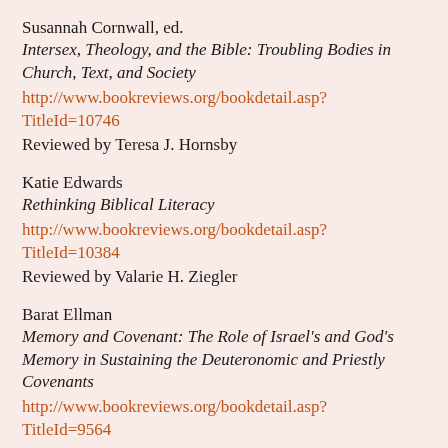Susannah Cornwall, ed.
Intersex, Theology, and the Bible: Troubling Bodies in Church, Text, and Society
http://www.bookreviews.org/bookdetail.asp?TitleId=10746
Reviewed by Teresa J. Hornsby
Katie Edwards
Rethinking Biblical Literacy
http://www.bookreviews.org/bookdetail.asp?TitleId=10384
Reviewed by Valarie H. Ziegler
Barat Ellman
Memory and Covenant: The Role of Israel's and God's Memory in Sustaining the Deuteronomic and Priestly Covenants
http://www.bookreviews.org/bookdetail.asp?TitleId=9564